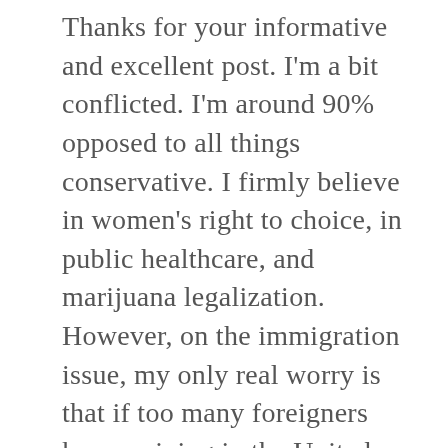Thanks for your informative and excellent post. I'm a bit conflicted. I'm around 90% opposed to all things conservative. I firmly believe in women's right to choice, in public healthcare, and marijuana legalization. However, on the immigration issue, my only real worry is that if too many foreigners keep arriving in the United States, and do not assimilate into American culture (by that I mean, speaking English, adopting American ideals of freedom/democracy, etc), then will that have an effect on our country as a whole? I would like my children to grow up with the same quality and standard of living that I had when I was growing up. Will the new incoming immigrants to this country uphold the ideals that this country was founded on? Or will this country lower its standard of living to be closer to that of the source countries where the